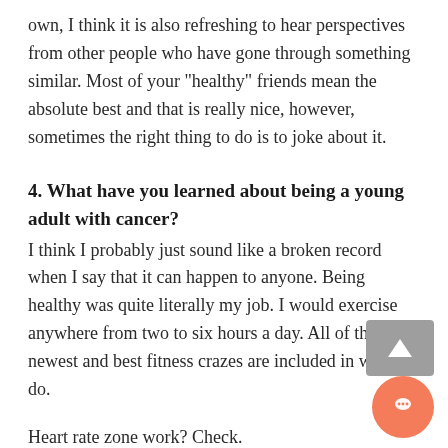own, I think it is also refreshing to hear perspectives from other people who have gone through something similar. Most of your "healthy" friends mean the absolute best and that is really nice, however, sometimes the right thing to do is to joke about it.
4. What have you learned about being a young adult with cancer?
I think I probably just sound like a broken record when I say that it can happen to anyone. Being healthy was quite literally my job. I would exercise anywhere from two to six hours a day. All of the newest and best fitness crazes are included in what I do.
Heart rate zone work? Check.